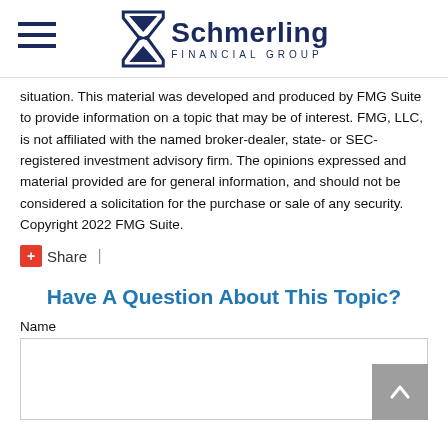Schmerling Financial Group
situation. This material was developed and produced by FMG Suite to provide information on a topic that may be of interest. FMG, LLC, is not affiliated with the named broker-dealer, state- or SEC-registered investment advisory firm. The opinions expressed and material provided are for general information, and should not be considered a solicitation for the purchase or sale of any security. Copyright 2022 FMG Suite.
Share |
Have A Question About This Topic?
Name